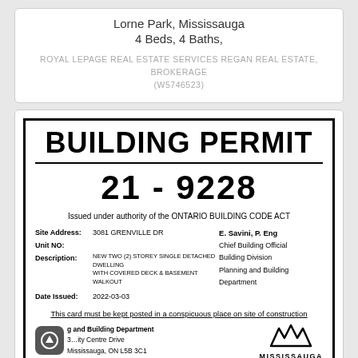Lorne Park, Mississauga
4 Beds, 4 Baths,
ROYAL LEPAGE REAL ESTATE SERVICES REGAN REAL ESTATE, BROKERAGE (W5746523)
BUILDING PERMIT
21 - 9228
Issued under authority of the ONTARIO BUILDING CODE ACT
| Site Address: | 3081 GRENVILLE DR | E. Savini, P. Eng |
| Unit NO: |  | Chief Building Official |
| Description: | NEW TWO (2) STOREY SINGLE DETACHED DWELLING WITH COVERED DECK & BASEMENT WALKOUT | Building Division |
| Date Issued: | 2022-03-03 | Planning and Building Department |
This card must be kept posted in a conspicuous place on site of construction
Planning and Building Department
3300 City Centre Drive
Mississauga, ON L5B 3C1
[Figure (logo): Mississauga city logo with stylized M shape above MISSISSAUGA text]